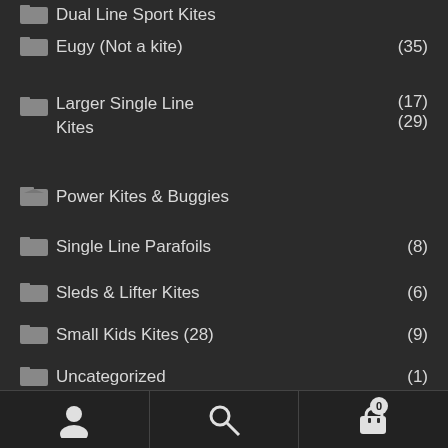Dual Line Sport Kites
Eugy (Not a kite) (35)
Larger Single Line Kites (17) (29)
Power Kites & Buggies
Single Line Parafoils (8)
Sleds & Lifter Kites (6)
Small Kids Kites (28) (9)
Uncategorized (1)